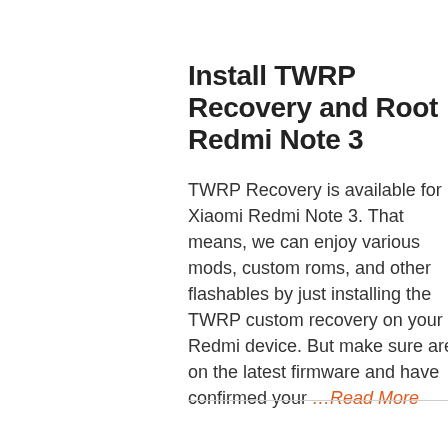Install TWRP Recovery and Root Redmi Note 3
TWRP Recovery is available for Xiaomi Redmi Note 3. That means, we can enjoy various mods, custom roms, and other flashables by just installing the TWRP custom recovery on your Redmi device. But make sure are on the latest firmware and have confirmed your …Read More